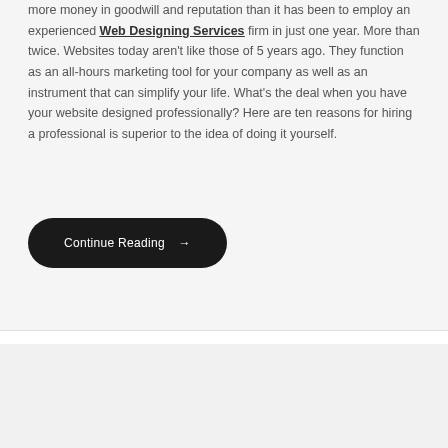more money in goodwill and reputation than it has been to employ an experienced Web Designing Services firm in just one year. More than twice. Websites today aren't like those of 5 years ago. They function as an all-hours marketing tool for your company as well as an instrument that can simplify your life. What's the deal when you have your website designed professionally? Here are ten reasons for hiring a professional is superior to the idea of doing it yourself.
Continue Reading →
[Figure (other): Map view with compass/navigation button in the bottom right corner showing a blue arrow pointing up-right on a circular button with light gray background]